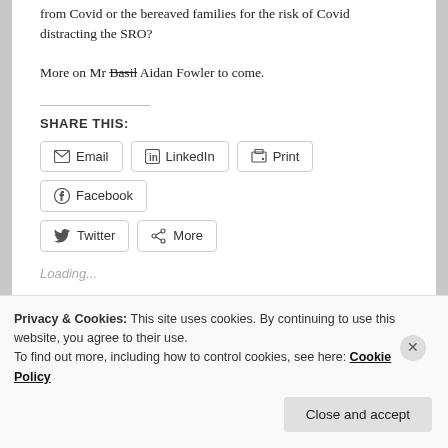from Covid or the bereaved families for the risk of Covid distracting the SRO?
More on Mr Basil Aidan Fowler to come.
SHARE THIS:
Email  LinkedIn  Print  Facebook  Twitter  More
Loading...
Privacy & Cookies: This site uses cookies. By continuing to use this website, you agree to their use.
To find out more, including how to control cookies, see here: Cookie Policy
Close and accept